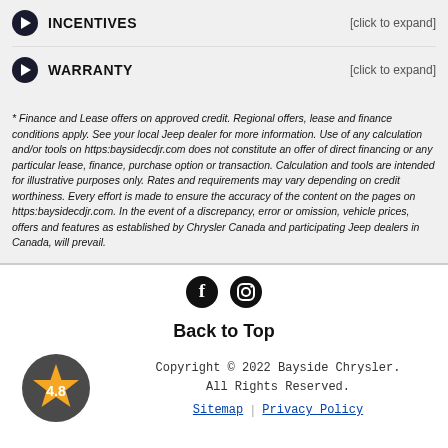INCENTIVES [click to expand]
WARRANTY [click to expand]
* Finance and Lease offers on approved credit. Regional offers, lease and finance conditions apply. See your local Jeep dealer for more information. Use of any calculation and/or tools on https:baysidecdjr.com does not constitute an offer of direct financing or any particular lease, finance, purchase option or transaction. Calculation and tools are intended for illustrative purposes only. Rates and requirements may vary depending on credit worthiness. Every effort is made to ensure the accuracy of the content on the pages on https:baysidecdjr.com. In the event of a discrepancy, error or omission, vehicle prices, offers and features as established by Chrysler Canada and participating Jeep dealers in Canada, will prevail.
[Figure (illustration): Social media icons: Facebook and Instagram circular icons]
Back to Top
[Figure (illustration): Star rating badge showing 4.8 rating with gold star on dark circular background]
Copyright © 2022 Bayside Chrysler. All Rights Reserved.
Sitemap | Privacy Policy